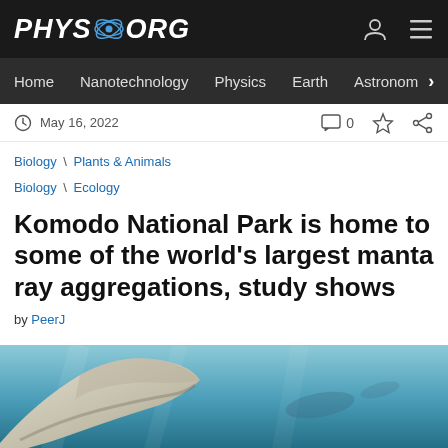PHYS.ORG
Home | Nanotechnology | Physics | Earth | Astronomy
May 16, 2022
Biology \ Plants & Animals
Biology \ Ecology
Komodo National Park is home to some of the world's largest manta ray aggregations, study shows
by PeerJ
[Figure (photo): Underwater photo of a manta ray showing its wing/fin against a blue-green ocean background]